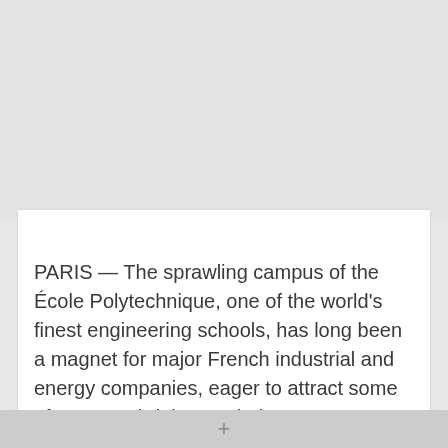[Figure (photo): Gray background area representing an image placeholder at the top of the page]
PARIS — The sprawling campus of the École Polytechnique, one of the world's finest engineering schools, has long been a magnet for major French industrial and energy companies, eager to attract some of France's brightest minds.
So when it was announced last year that the oil and
+